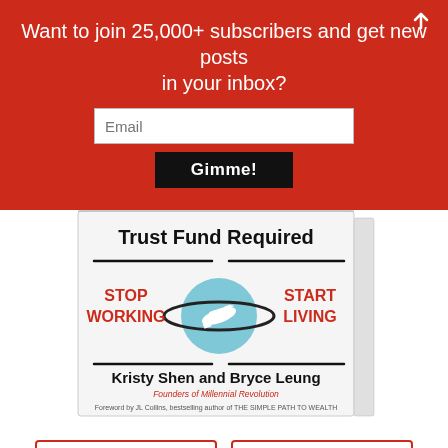Want to join 25,000+ subscribers and get new posts in your inbox?
Email
Gimme!
[Figure (photo): Book cover: 'No Trust Fund Required' by Kristy Shen and Bryce Leung. Shows 'STOP WORKING START LIVING' text with an airplane globe graphic. Foreword by JL Collins, bestselling author of THE SIMPLE PATH TO WEALTH. Published Millennial Revolution founders.]
AMAZON
OTHER